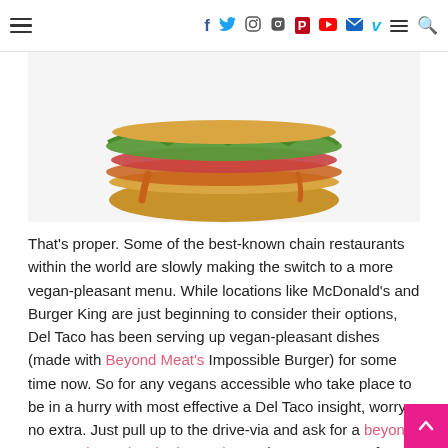≡  f  [twitter] [instagram] [pinterest] [youtube] [mail] v  ≡  🔍
[Figure (photo): Photograph of a burger/sandwich from Del Taco — an open-faced bun with lettuce, tomato, and sauce, on a white background.]
That's proper. Some of the best-known chain restaurants within the world are slowly making the switch to a more vegan-pleasant menu. While locations like McDonald's and Burger King are just beginning to consider their options, Del Taco has been serving up vegan-pleasant dishes (made with Beyond Meat's Impossible Burger) for some time now. So for any vegans accessible who take place to be in a hurry with most effective a Del Taco insight, worry no extra. Just pull up to the drive-via and ask for a beyond taco or alternative the beyond meat into any range of different alternatives (and pass the cheese, of direction).